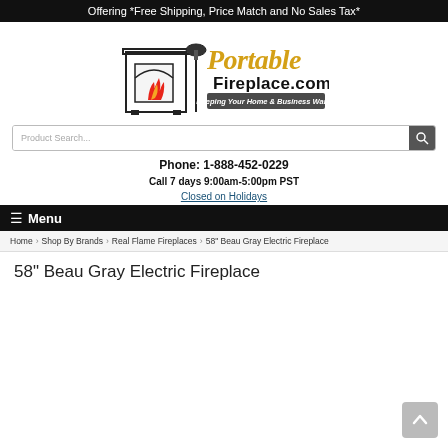Offering *Free Shipping, Price Match and No Sales Tax*
[Figure (logo): PortableFireplace.com logo with fireplace illustration and tagline 'Keeping Your Home & Business Warm!']
Product Search...
Phone: 1-888-452-0229
Call 7 days 9:00am-5:00pm PST
Closed on Holidays
☰ Menu
Home > Shop By Brands > Real Flame Fireplaces > 58" Beau Gray Electric Fireplace
58" Beau Gray Electric Fireplace